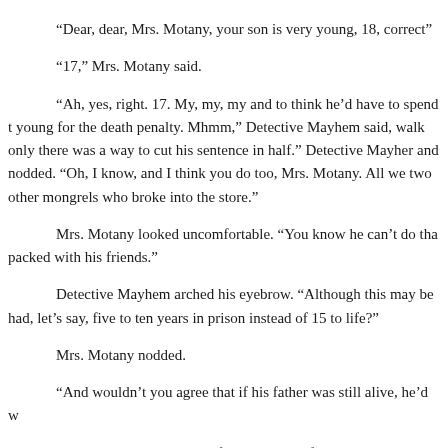“Dear, dear, Mrs. Motany, your son is very young, 18, correct”
“17,” Mrs. Motany said.
“Ah, yes, right. 17. My, my, my and to think he’d have to spend t young for the death penalty. Mhmm,” Detective Mayhem said, walk only there was a way to cut his sentence in half.” Detective Mayher and nodded. “Oh, I know, and I think you do too, Mrs. Motany. All we two other mongrels who broke into the store.”
Mrs. Motany looked uncomfortable. “You know he can’t do tha packed with his friends.”
Detective Mayhem arched his eyebrow. “Although this may be had, let’s say, five to ten years in prison instead of 15 to life?”
Mrs. Motany nodded.
“And wouldn’t you agree that if his father was still alive, he’d w
Mrs. Motany jumped out of her chair, her face tense, her lips into this, you fool,” she said with an intense fierceness in her voice.